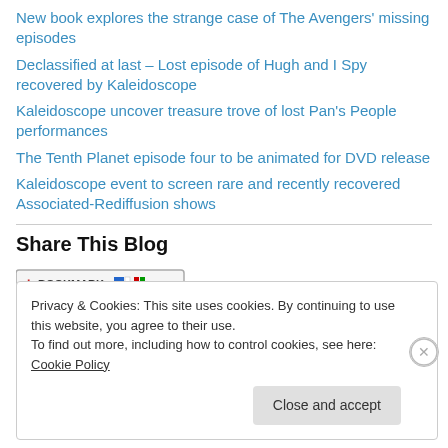New book explores the strange case of The Avengers' missing episodes
Declassified at last – Lost episode of Hugh and I Spy recovered by Kaleidoscope
Kaleidoscope uncover treasure trove of lost Pan's People performances
The Tenth Planet episode four to be animated for DVD release
Kaleidoscope event to screen rare and recently recovered Associated-Rediffusion shows
Share This Blog
[Figure (other): Bookmark button with colored icons and ellipsis]
Privacy & Cookies: This site uses cookies. By continuing to use this website, you agree to their use.
To find out more, including how to control cookies, see here: Cookie Policy
Close and accept